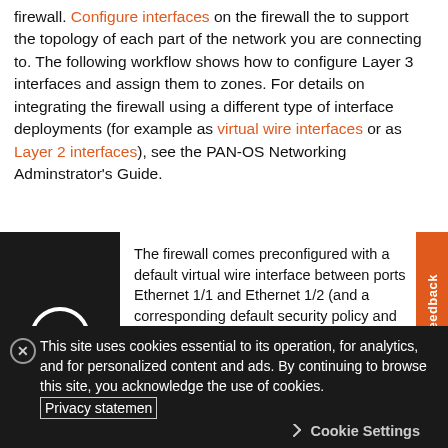firewall. Configure interfaces on the firewall the to support the topology of each part of the network you are connecting to. The following workflow shows how to configure Layer 3 interfaces and assign them to zones. For details on integrating the firewall using a different type of interface deployments (for example as virtual wire interfaces or as Layer 2 interfaces), see the PAN-OS Networking Adminstrator's Guide.
The firewall comes preconfigured with a default virtual wire interface between ports Ethernet 1/1 and Ethernet 1/2 (and a corresponding default security policy and virtual router). If you do not plan to use the default virtual wire, you must manually delete the configuration and commit the change before proceeding to prevent it from interfering with other settings you define. For...
This site uses cookies essential to its operation, for analytics, and for personalized content and ads. By continuing to browse this site, you acknowledge the use of cookies. Privacy statement